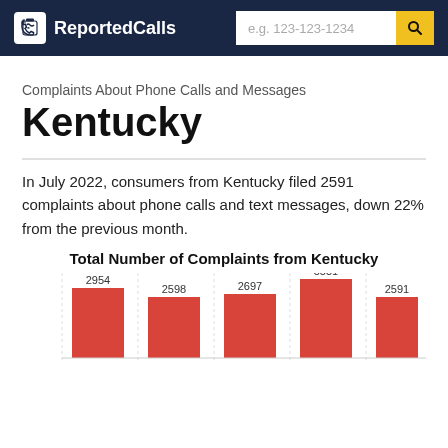ReportedCalls
Complaints About Phone Calls and Messages
Kentucky
In July 2022, consumers from Kentucky filed 2591 complaints about phone calls and text messages, down 22% from the previous month.
[Figure (bar-chart): Total Number of Complaints from Kentucky]